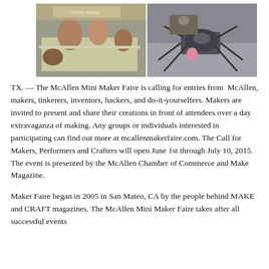[Figure (photo): Two side-by-side photos from a Maker Faire event. Left: people gathered around a table with colorful crafts. Right: a person working with a robotic spider-like device.]
McAllen, TX. — The McAllen Mini Maker Faire is calling for entries from makers, tinkerers, inventors, hackers, and do-it-yourselfers. Makers are invited to present and share their creations in front of attendees over a day extravaganza of making. Any groups or individuals interested in participating can find out more at mcallenmakerfaire.com. The Call for Makers, Performers and Crafters will open June 1st through July 10, 2015. The event is presented by the McAllen Chamber of Commerce and Make Magazine.
Maker Faire began in 2005 in San Mateo, CA by the people behind MAKE and CRAFT magazines. The McAllen Mini Maker Faire takes after all successful events...